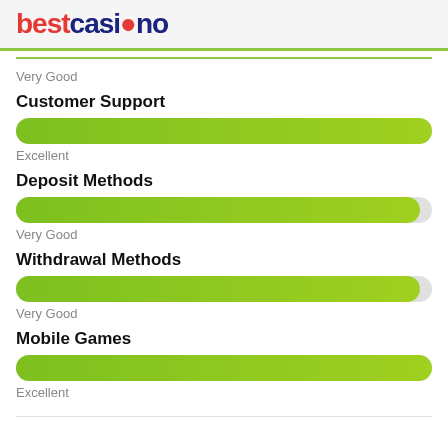[Figure (logo): bestcasino logo with red 'best' and dark blue 'casino' text]
Very Good
Customer Support
[Figure (infographic): Green progress bar - Excellent (full width)]
Excellent
Deposit Methods
[Figure (infographic): Green progress bar - Very Good (near full width)]
Very Good
Withdrawal Methods
[Figure (infographic): Green progress bar - Very Good (near full width)]
Very Good
Mobile Games
[Figure (infographic): Green progress bar - Excellent (full width)]
Excellent